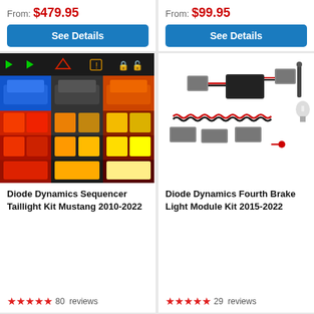From: $479.95
See Details
From: $99.95
See Details
[Figure (photo): Diode Dynamics Sequencer Taillight Kit installed on a Mustang, showing three color variants (blue, black, orange) with sequential LED taillights and UI icons]
[Figure (photo): Diode Dynamics Fourth Brake Light Module Kit for 2015-2022 Mustang, showing wiring harness, connectors, and LED bulb components on white background]
Diode Dynamics Sequencer Taillight Kit Mustang 2010-2022
Diode Dynamics Fourth Brake Light Module Kit 2015-2022
★★★★★  80  reviews
★★★★★  29  reviews